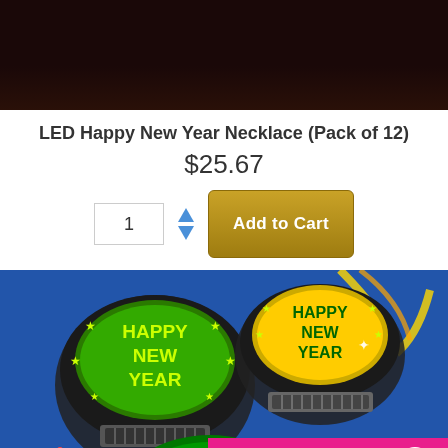[Figure (photo): Dark background product photo top portion]
LED Happy New Year Necklace (Pack of 12)
$25.67
[Figure (other): Quantity selector with up/down arrows and Add to Cart button]
[Figure (photo): Product image showing Happy New Year LED necklaces on a blue background with confetti]
Leave a message